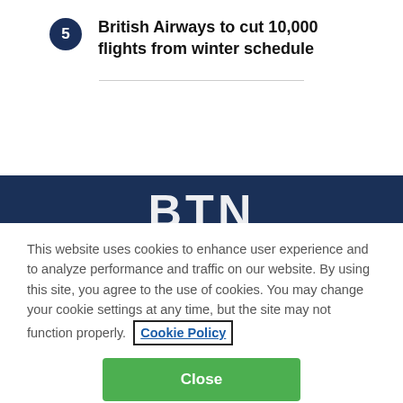5 British Airways to cut 10,000 flights from winter schedule
[Figure (logo): BTN logo in white text on dark navy blue background banner]
This website uses cookies to enhance user experience and to analyze performance and traffic on our website. By using this site, you agree to the use of cookies. You may change your cookie settings at any time, but the site may not function properly. Cookie Policy